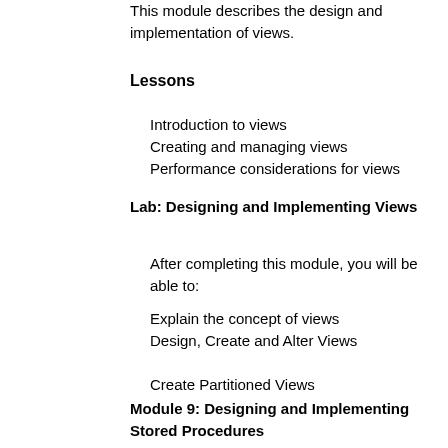This module describes the design and implementation of views.
Lessons
Introduction to views
Creating and managing views
Performance considerations for views
Lab: Designing and Implementing Views
After completing this module, you will be able to:
Explain the concept of views
Design, Create and Alter Views
Create Partitioned Views
Module 9: Designing and Implementing Stored Procedures